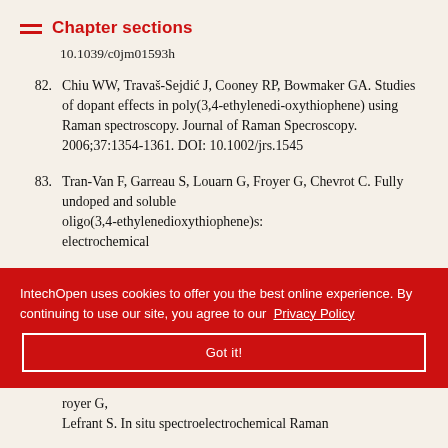Chapter sections
10.1039/c0jm01593h
82. Chiu WW, Travaš-Sejdić J, Cooney RP, Bowmaker GA. Studies of dopant effects in poly(3,4-ethylenedi-oxythiophene) using Raman spectroscopy. Journal of Raman Specroscopy. 2006;37:1354-1361. DOI: 10.1002/jrs.1545
83. Tran-Van F, Garreau S, Louarn G, Froyer G, Chevrot C. Fully undoped and soluble oligo...(partially obscured)
IntechOpen uses cookies to offer you the best online experience. By continuing to use our site, you agree to our Privacy Policy
Got it!
...royer G, Lefrant S. In situ spectroelectrochemical Raman...